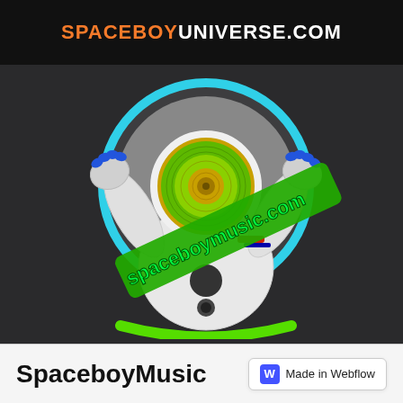SPACEBOYUNIVERSE.COM
[Figure (illustration): An astronaut in a white space suit with blue-tipped gloves, raising both hands, with a large vinyl record visible inside the helmet visor. A cyan circle forms the background halo. A green diagonal banner text reads 'spaceboymusic.com' across the suit.]
SpaceboyMusic
Made in Webflow